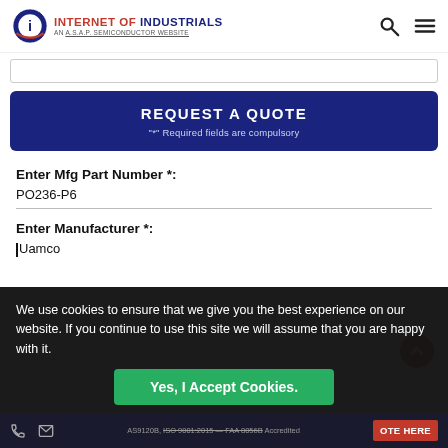INTERNET OF INDUSTRIALS - AN A.S.A.P. SEMICONDUCTOR WEBSITE
REQUEST A QUOTE
"*" Required fields are compulsory
Enter Mfg Part Number *:
PO236-P6
Enter Manufacturer *:
Uamco
We use cookies to ensure that we give you the best experience on our website. If you continue to use this site we will assume that you are happy with it.
Yes, I Accept Cookies.
AS9120B, ISO 9001:2015, FAA 8056B Accredited OTE HERE